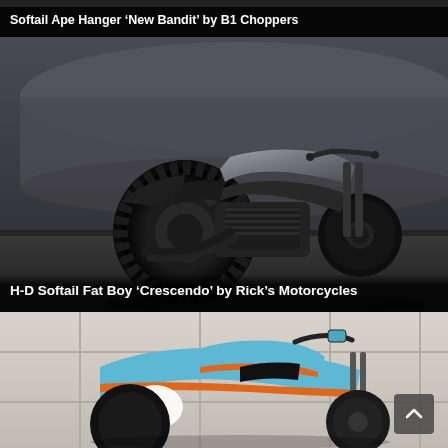Softail Ape Hanger ‘New Bandit’ by B1 Choppers
[Figure (photo): Custom Harley-Davidson Softail Fat Boy 'Crescendo' motorcycle in dark matte finish, photographed in front of industrial train cars. Wide rear tire, blacked-out components, minimalist custom build.]
H-D Softail Fat Boy ‘Crescendo’ by Rick’s Motorcycles
[Figure (photo): Custom motorcycle in Gulf Racing blue and orange livery with number 21, photographed against a light paneled wall background.]